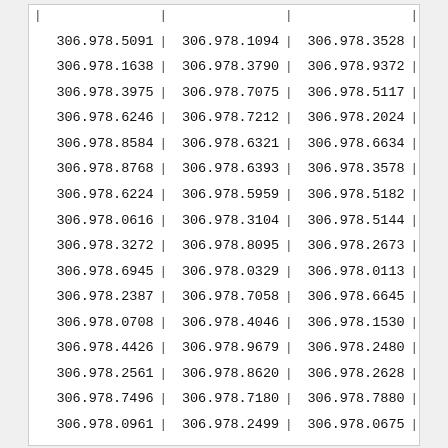| 306.978.5091 | | | 306.978.1094 | | | 306.978.3528 | | |
| 306.978.1638 | | | 306.978.3790 | | | 306.978.9372 | | |
| 306.978.3975 | | | 306.978.7075 | | | 306.978.5117 | | |
| 306.978.6246 | | | 306.978.7212 | | | 306.978.2024 | | |
| 306.978.8584 | | | 306.978.6321 | | | 306.978.6634 | | |
| 306.978.8768 | | | 306.978.6393 | | | 306.978.3578 | | |
| 306.978.6224 | | | 306.978.5959 | | | 306.978.5182 | | |
| 306.978.0616 | | | 306.978.3104 | | | 306.978.5144 | | |
| 306.978.3272 | | | 306.978.8095 | | | 306.978.2673 | | |
| 306.978.6945 | | | 306.978.0329 | | | 306.978.0113 | | |
| 306.978.2387 | | | 306.978.7058 | | | 306.978.6645 | | |
| 306.978.0708 | | | 306.978.4046 | | | 306.978.1530 | | |
| 306.978.4426 | | | 306.978.9679 | | | 306.978.2480 | | |
| 306.978.2561 | | | 306.978.8620 | | | 306.978.2628 | | |
| 306.978.7496 | | | 306.978.7180 | | | 306.978.7880 | | |
| 306.978.0961 | | | 306.978.2499 | | | 306.978.0675 | | |
| 306.978.6975 | | | 306.978.0918 | | | 306.978.9516 | | |
| 306.978.5422 | | | 306.978.0856 | | | 306.978.8923 | | |
| 306.978.4163 | | | 306.978.1551 | | | 306.978.0840 | | |